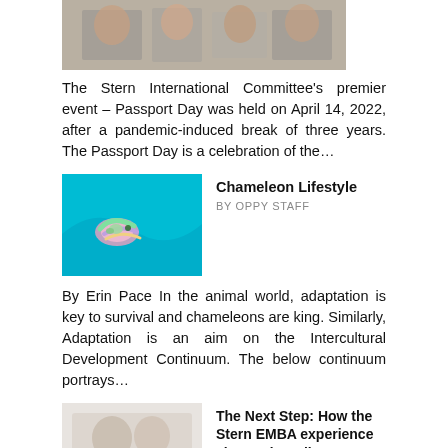[Figure (photo): Group photo of people standing together, likely at a Passport Day event]
The Stern International Committee's premier event – Passport Day was held on April 14, 2022, after a pandemic-induced break of three years. The Passport Day is a celebration of the…
[Figure (photo): A pink and green chameleon on colorful curved lines against a teal/cyan background]
Chameleon Lifestyle
BY OPPY STAFF
By Erin Pace In the animal world, adaptation is key to survival and chameleons are king. Similarly, Adaptation is an aim on the Intercultural Development Continuum. The below continuum portrays…
[Figure (photo): Placeholder image for The Next Step article]
The Next Step: How the Stern EMBA experience changed our lives
BY OPPY STAFF